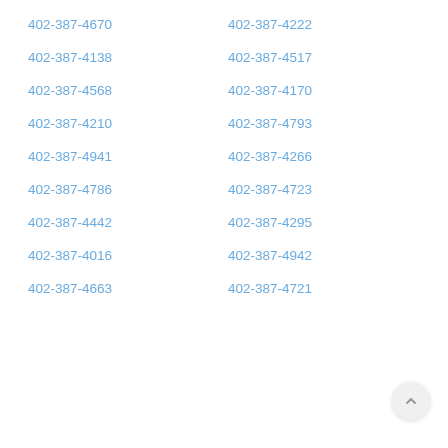402-387-4670
402-387-4222
402-387-4138
402-387-4517
402-387-4568
402-387-4170
402-387-4210
402-387-4793
402-387-4941
402-387-4266
402-387-4786
402-387-4723
402-387-4442
402-387-4295
402-387-4016
402-387-4942
402-387-4663
402-387-4721